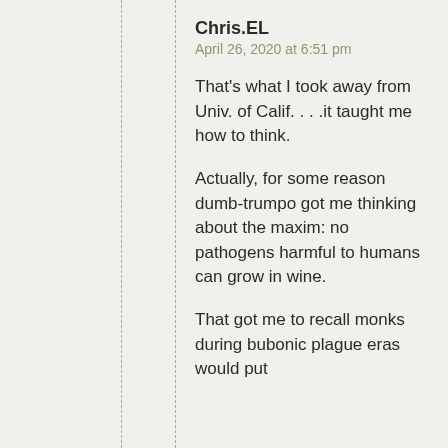Chris.EL
April 26, 2020 at 6:51 pm
That's what I took away from Univ. of Calif. . . .it taught me how to think.
Actually, for some reason dumb-trumpo got me thinking about the maxim: no pathogens harmful to humans can grow in wine.
That got me to recall monks during bubonic plague eras would put